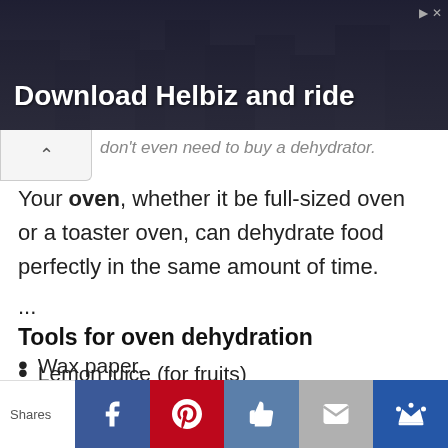[Figure (screenshot): Advertisement banner for Helbiz with dark city background. Text reads 'Download Helbiz and ride' in white bold text.]
don't even need to buy a dehydrator.
Your oven, whether it be full-sized oven or a toaster oven, can dehydrate food perfectly in the same amount of time.
...
Tools for oven dehydration
Lemon juice (for fruits)
Mandolin slicer or knife.
Wax paper.
[Figure (screenshot): Social share bar at bottom with Facebook, Pinterest, Like, Mail, and Crown buttons. Shows 'Shares' label on left.]